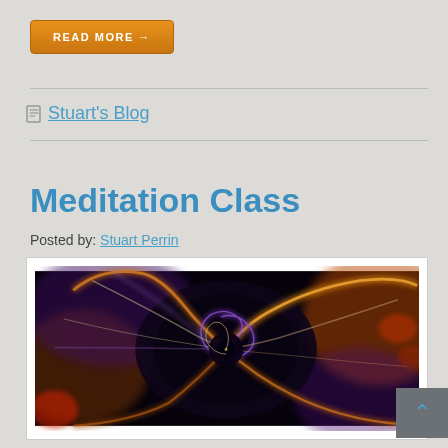READ MORE →
Stuart's Blog
Meditation Class
Posted by: Stuart Perrin
[Figure (illustration): Abstract fractal spiral artwork with dark blue/purple center spiral surrounded by orange, gold, and purple flowing forms on a dark background.]